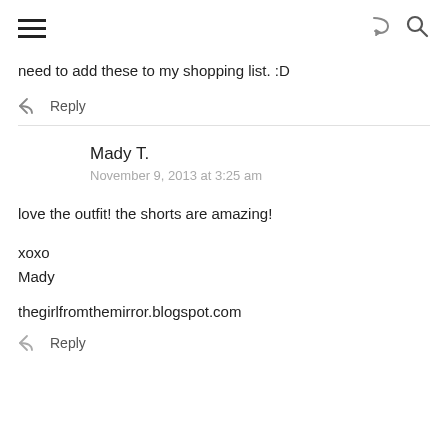need to add these to my shopping list. :D
↩ Reply
Mady T.
November 9, 2013 at 3:25 am
love the outfit! the shorts are amazing!
xoxo
Mady
thegirlfromthemirror.blogspot.com
↩ Reply